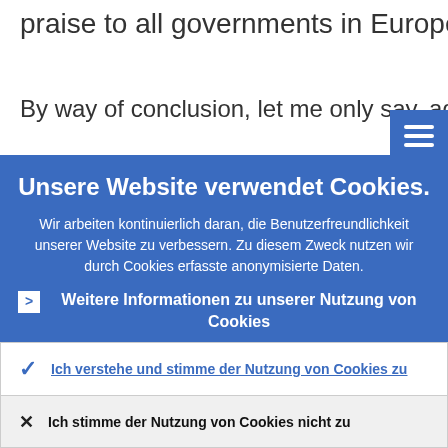praise to all governments in Europe!
By way of conclusion, let me only say, aga
[Figure (screenshot): Hamburger menu icon button (three white horizontal lines on blue background)]
Unsere Website verwendet Cookies.
Wir arbeiten kontinuierlich daran, die Benutzerfreundlichkeit unserer Website zu verbessern. Zu diesem Zweck nutzen wir durch Cookies erfasste anonymisierte Daten.
Weitere Informationen zu unserer Nutzung von Cookies
Ich verstehe und stimme der Nutzung von Cookies zu
Ich stimme der Nutzung von Cookies nicht zu